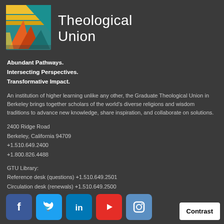[Figure (logo): Graduate Theological Union logo: colorful geometric mountain/arch shape with teal, yellow, orange colors]
Theological Union
Abundant Pathways.
Intersecting Perspectives.
Transformative Impact.
An institution of higher learning unlike any other, the Graduate Theological Union in Berkeley brings together scholars of the world's diverse religions and wisdom traditions to advance new knowledge, share inspiration, and collaborate on solutions.
2400 Ridge Road
Berkeley, California 94709
+1.510.649.2400
+1.800.826.4488
GTU Library:
Reference desk (questions) +1.510.649.2501
Circulation desk (renewals) +1.510.649.2500
[Figure (illustration): Social media icons row: Facebook, Twitter, LinkedIn, YouTube, Instagram]
Contrast